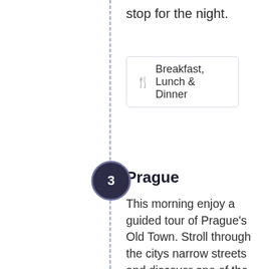stop for the night.
Breakfast, Lunch & Dinner
Prague
This morning enjoy a guided tour of Prague's Old Town. Stroll through the citys narrow streets and discover one of the most important places in Bohemian history as you visit the Jewish quarter, the old town hall with its famous astronomical clock, and the Charles Bridge. After lunch on board either spend the afternoon relaxing or disembark again to explore